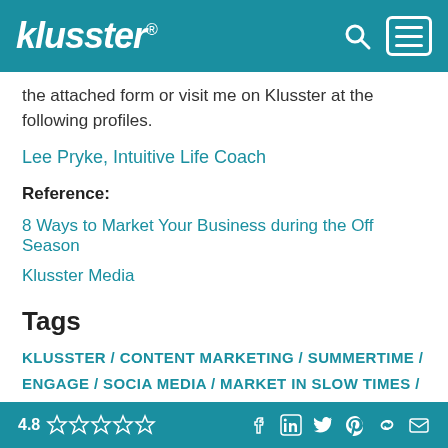klusster®
the attached form or visit me on Klusster at the following profiles.
Lee Pryke, Intuitive Life Coach
Reference:
8 Ways to Market Your Business during the Off Season
Klusster Media
Tags
KLUSSTER / CONTENT MARKETING / SUMMERTIME / ENGAGE / SOCIA MEDIA / MARKET IN SLOW TIMES / VIRTUAL STORE FRONT / GET FOUND WITH
4.8 ☆☆☆☆☆